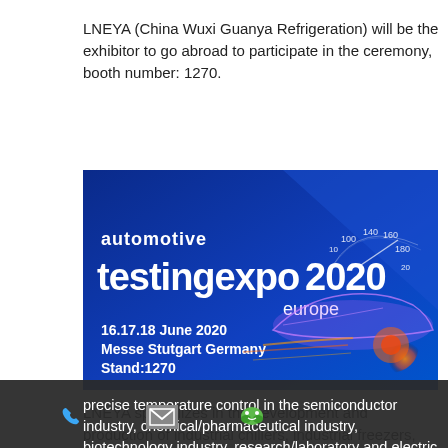LNEYA (China Wuxi Guanya Refrigeration) will be the exhibitor to go abroad to participate in the ceremony, booth number: 1270.
[Figure (illustration): Automotive Testing Expo 2020 Europe banner. Blue background with glowing sports car illustration. Text: 'automotive testing expo 2020 europe', '16.17.18 June 2020', 'Messe Stutgart Germany', 'Stand:1270'. Speedometer graphic on the right.]
LNEYA specializes in the development and production of industrial chillers, industrial freezers, TCUs, ultra-low temperature chillers and new energy semiconductor refrigeration and heating circulators. Our products ensure precise temperature control in the semiconductor industry, chemical/pharmaceutical industry, biotechnology industry, research/laboratory and electric vehicle battery systems.